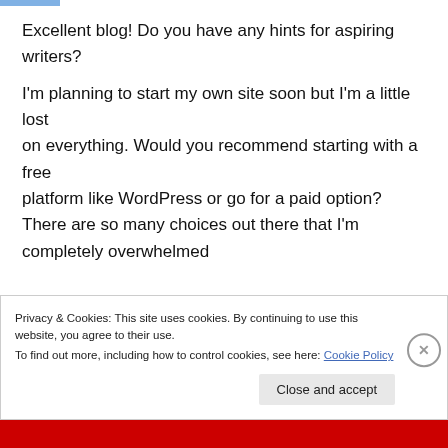Excellent blog! Do you have any hints for aspiring writers?
I'm planning to start my own site soon but I'm a little lost on everything. Would you recommend starting with a free platform like WordPress or go for a paid option? There are so many choices out there that I'm completely overwhelmed
Privacy & Cookies: This site uses cookies. By continuing to use this website, you agree to their use.
To find out more, including how to control cookies, see here: Cookie Policy
Close and accept